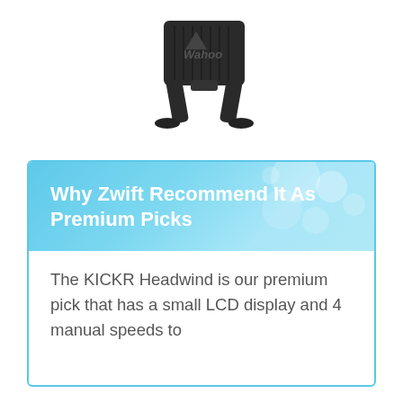[Figure (photo): Wahoo KICKR Headwind fan device, black, viewed from the back/side showing its stand legs and ventilation grille, on a white background.]
Why Zwift Recommend It As Premium Picks
The KICKR Headwind is our premium pick that has a small LCD display and 4 manual speeds to